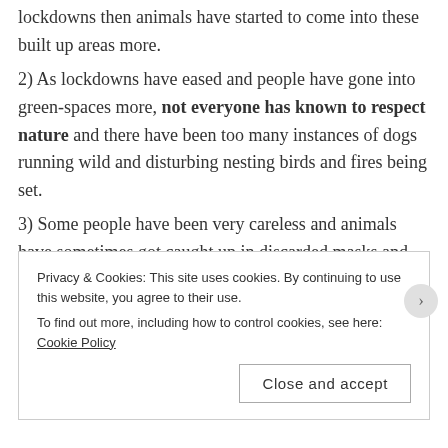lockdowns then animals have started to come into these built up areas more.
2) As lockdowns have eased and people have gone into green-spaces more, not everyone has known to respect nature and there have been too many instances of dogs running wild and disturbing nesting birds and fires being set.
3) Some people have been very careless and animals have sometimes got caught up in discarded masks and gloves.
Privacy & Cookies: This site uses cookies. By continuing to use this website, you agree to their use.
To find out more, including how to control cookies, see here: Cookie Policy
Close and accept